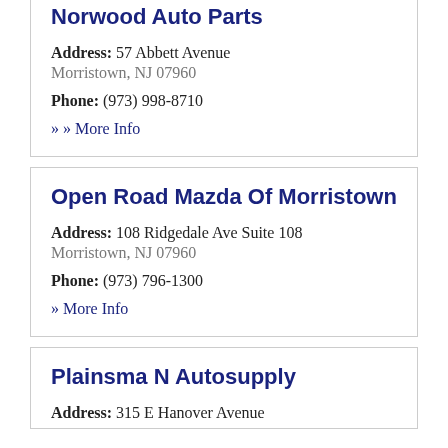Norwood Auto Parts
Address: 57 Abbett Avenue Morristown, NJ 07960
Phone: (973) 998-8710
» More Info
Open Road Mazda Of Morristown
Address: 108 Ridgedale Ave Suite 108 Morristown, NJ 07960
Phone: (973) 796-1300
» More Info
Plainsma N Autosupply
Address: 315 E Hanover Avenue